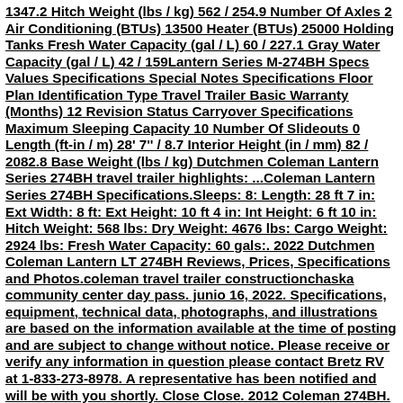1347.2 Hitch Weight (lbs / kg) 562 / 254.9 Number Of Axles 2 Air Conditioning (BTUs) 13500 Heater (BTUs) 25000 Holding Tanks Fresh Water Capacity (gal / L) 60 / 227.1 Gray Water Capacity (gal / L) 42 / 159Lantern Series M-274BH Specs Values Specifications Special Notes Specifications Floor Plan Identification Type Travel Trailer Basic Warranty (Months) 12 Revision Status Carryover Specifications Maximum Sleeping Capacity 10 Number Of Slideouts 0 Length (ft-in / m) 28' 7'' / 8.7 Interior Height (in / mm) 82 / 2082.8 Base Weight (lbs / kg) Dutchmen Coleman Lantern Series 274BH travel trailer highlights: ...Coleman Lantern Series 274BH Specifications.Sleeps: 8: Length: 28 ft 7 in: Ext Width: 8 ft: Ext Height: 10 ft 4 in: Int Height: 6 ft 10 in: Hitch Weight: 568 lbs: Dry Weight: 4676 lbs: Cargo Weight: 2924 lbs: Fresh Water Capacity: 60 gals:. 2022 Dutchmen Coleman Lantern LT 274BH Reviews, Prices, Specifications and Photos.coleman travel trailer constructionchaska community center day pass. junio 16, 2022. Specifications, equipment, technical data, photographs, and illustrations are based on the information available at the time of posting and are subject to change without notice. Please receive or verify any information in question please contact Bretz RV at 1-833-273-8978. A representative has been notified and will be with you shortly. Close Close. 2012 Coleman 274BH. Travel Trailer. Stock #41490. Victor, NY. 833-202-5733. Installation instructions and